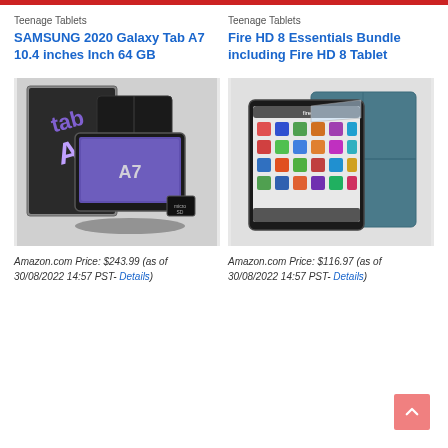Teenage Tablets
SAMSUNG 2020 Galaxy Tab A7 10.4 inches Inch 64 GB
[Figure (photo): Samsung Galaxy Tab A7 tablet shown with case and microSD card]
Amazon.com Price: $243.99 (as of 30/08/2022 14:57 PST- Details)
Teenage Tablets
Fire HD 8 Essentials Bundle including Fire HD 8 Tablet
[Figure (photo): Fire HD 8 tablet shown with case in teal/blue color]
Amazon.com Price: $116.97 (as of 30/08/2022 14:57 PST- Details)